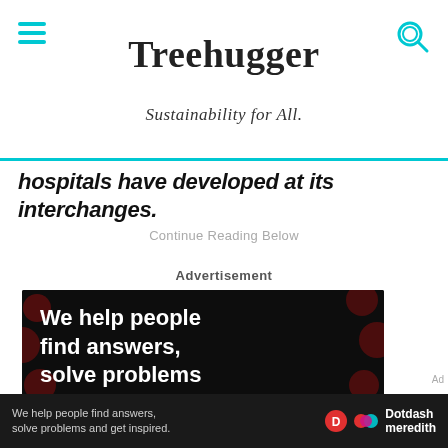Treehugger — Sustainability for All.
hospitals have developed at its interchanges.
Continue Reading Below
Advertisement
[Figure (illustration): Dark advertisement banner with dark red polka dots background. White bold text reads: We help people find answers, solve problems and get inspired. Red period at end. LEARN MORE with arrow. Dotdash and Meredith logos at bottom right.]
Ad
We help people find answers, solve problems and get inspired. Dotdash meredith